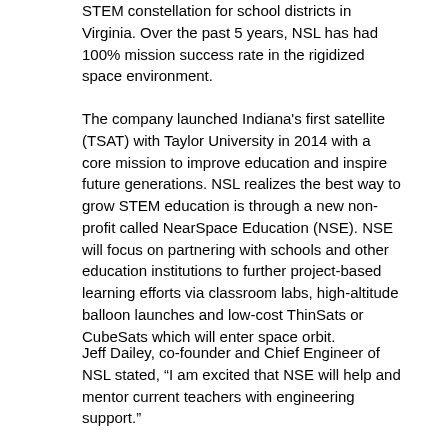STEM constellation for school districts in Virginia. Over the past 5 years, NSL has had 100% mission success rate in the rigidized space environment.
The company launched Indiana's first satellite (TSAT) with Taylor University in 2014 with a core mission to improve education and inspire future generations. NSL realizes the best way to grow STEM education is through a new non-profit called NearSpace Education (NSE). NSE will focus on partnering with schools and other education institutions to further project-based learning efforts via classroom labs, high-altitude balloon launches and low-cost ThinSats or CubeSats which will enter space orbit.
Jeff Dailey, co-founder and Chief Engineer of NSL stated, “I am excited that NSE will help and mentor current teachers with engineering support.”